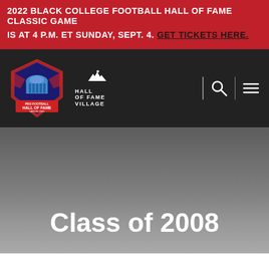2022 BLACK COLLEGE FOOTBALL HALL OF FAME CLASSIC GAME IS AT 4 P.M. ET SUNDAY, SEPT. 4. GET TICKETS HERE.
[Figure (logo): Pro Football Hall of Fame logo (shield shape with blue dome building and red rays, text: PRO FOOTBALL HALL OF FAME CANTON, OHIO) and Hall of Fame Village logo with mountain peaks icon]
Class of 2008